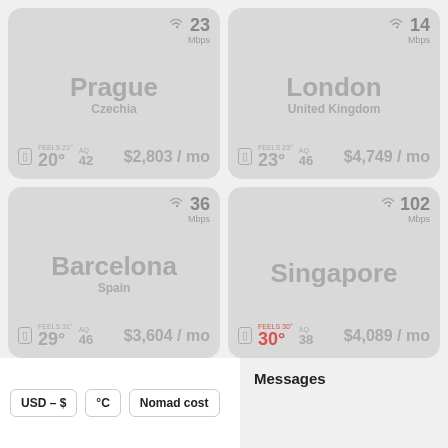[Figure (infographic): City card for Prague, Czechia. WiFi: 23 Mbps. Temperature: 20°. AQ: 42. Cost: $2,803 / mo.]
[Figure (infographic): City card for London, United Kingdom. WiFi: 14 Mbps. Temperature: 23°. AQ: 46. Cost: $4,749 / mo.]
[Figure (infographic): City card for Barcelona, Spain. WiFi: 36 Mbps. Temperature: 29°. AQ: 46. Cost: $3,604 / mo.]
[Figure (infographic): City card for Singapore. WiFi: 102 Mbps. Temperature: 30° (feels 30°). AQ: 38. Cost: $4,089 / mo.]
USD – $   °C   Nomad cost
Messages